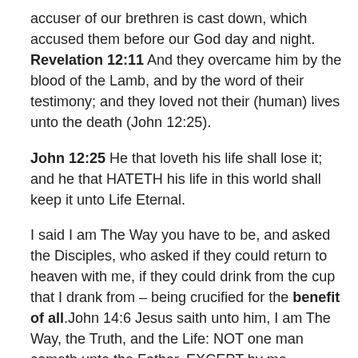accuser of our brethren is cast down, which accused them before our God day and night. Revelation 12:11 And they overcame him by the blood of the Lamb, and by the word of their testimony; and they loved not their (human) lives unto the death (John 12:25).
John 12:25 He that loveth his life shall lose it; and he that HATETH his life in this world shall keep it unto Life Eternal.
I said I am The Way you have to be, and asked the Disciples, who asked if they could return to heaven with me, if they could drink from the cup that I drank from – being crucified for the benefit of all.John 14:6 Jesus saith unto him, I am The Way, the Truth, and the Life: NOT one man cometh unto the Father, EXCEPT by me.